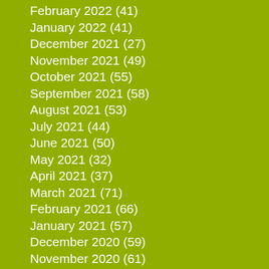February 2022 (41)
January 2022 (41)
December 2021 (27)
November 2021 (49)
October 2021 (55)
September 2021 (58)
August 2021 (53)
July 2021 (44)
June 2021 (50)
May 2021 (32)
April 2021 (37)
March 2021 (71)
February 2021 (66)
January 2021 (57)
December 2020 (59)
November 2020 (61)
October 2020 (75)
September 2020 (71)
August 2020 (56)